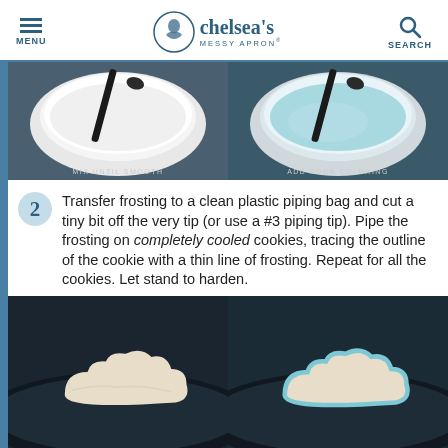MENU | chelsea's MESSY APRON® | SEARCH
[Figure (photo): Two side-by-side photos: left shows white frosting in a bowl being mixed with a spoon (caption: MIX UNTIL SMOOTH), right shows light blue frosting in a bowl with a spoon (caption: ADD FOOD COLORING)]
2  Transfer frosting to a clean plastic piping bag and cut a tiny bit off the very tip (or use a #3 piping tip). Pipe the frosting on completely cooled cookies, tracing the outline of the cookie with a thin line of frosting. Repeat for all the cookies. Let stand to harden.
[Figure (photo): Two side-by-side photos showing cookies being decorated with frosting on a dark background]